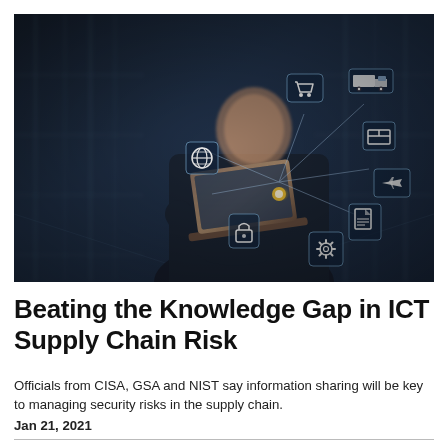[Figure (photo): A person in a dark suit holding a tablet/laptop with supply chain logistics icons floating above it (shopping cart, globe, truck, airplane, lock, gear, document, box), set against a blurred warehouse with blue-toned lighting.]
Beating the Knowledge Gap in ICT Supply Chain Risk
Officials from CISA, GSA and NIST say information sharing will be key to managing security risks in the supply chain.
Jan 21, 2021